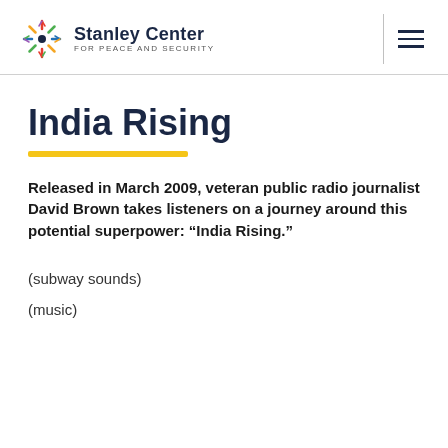Stanley Center FOR PEACE AND SECURITY
India Rising
Released in March 2009, veteran public radio journalist David Brown takes listeners on a journey around this potential superpower: “India Rising.”
(subway sounds)
(music)